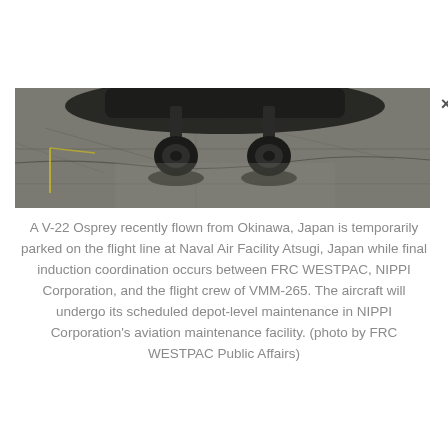[Figure (photo): Bottom portion of a V-22 Osprey aircraft parked on a concrete flight line tarmac, showing the aircraft's landing gear and underside, with a dark shadow cast on the gray concrete surface. A close button (×) appears in the upper right corner of the image overlay.]
A V-22 Osprey recently flown from Okinawa, Japan is temporarily parked on the flight line at Naval Air Facility Atsugi, Japan while final induction coordination occurs between FRC WESTPAC, NIPPI Corporation, and the flight crew of VMM-265. The aircraft will undergo its scheduled depot-level maintenance in NIPPI Corporation's aviation maintenance facility. (photo by FRC WESTPAC Public Affairs)